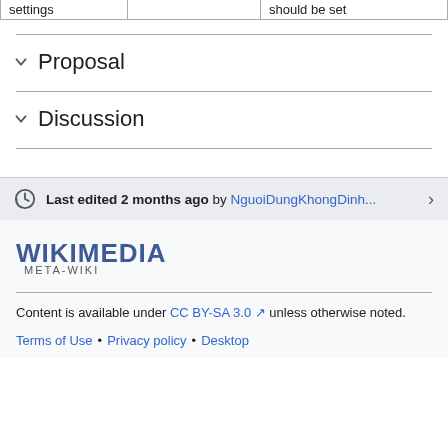| settings |  | should be set |
Proposal
Discussion
Last edited 2 months ago by NguoiDungKhongDinh...
[Figure (logo): Wikimedia Meta-Wiki logo]
Content is available under CC BY-SA 3.0 unless otherwise noted.
Terms of Use • Privacy policy • Desktop